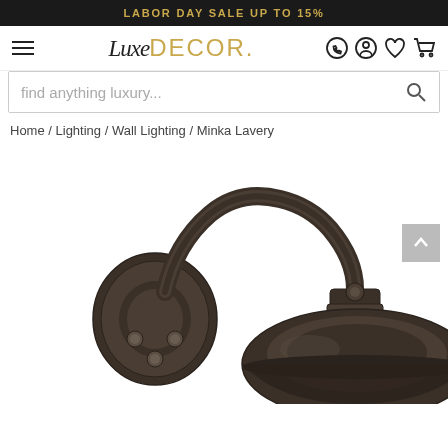LABOR DAY SALE UP TO 15%
[Figure (logo): LuxeDecor logo with script 'Luxe' and styled 'DECOR.' in gold]
find anything luxury...
Home / Lighting / Wall Lighting / Minka Lavery
[Figure (photo): Close-up product photo of a dark oil-rubbed bronze wall sconce with gooseneck arm and dome shade by Minka Lavery]